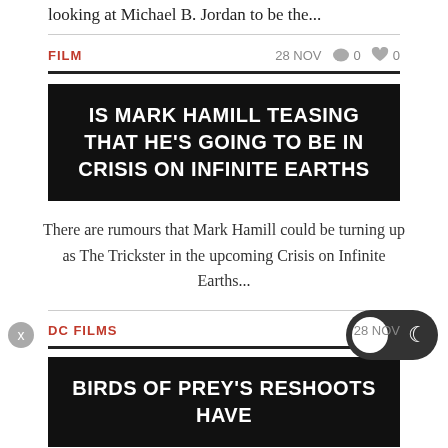looking at Michael B. Jordan to be the...
FILM   28 NOV   💬 0   ❤ 0
IS MARK HAMILL TEASING THAT HE'S GOING TO BE IN CRISIS ON INFINITE EARTHS
There are rumours that Mark Hamill could be turning up as The Trickster in the upcoming Crisis on Infinite Earths...
DC FILMS   28 NOV
BIRDS OF PREY'S RESHOOTS HAVE